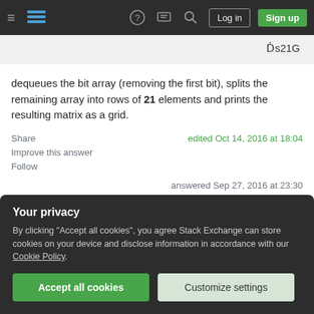Stack Exchange navigation bar with Log in and Sign up buttons
Ḋs21G
dequeues the bit array (removing the first bit), splits the remaining array into rows of 21 elements and prints the resulting matrix as a grid.
Share
Improve this answer
Follow
edited Oct 14, 2016 at 18:04
answered Sep 27, 2016 at 23:30
Your privacy
By clicking "Accept all cookies", you agree Stack Exchange can store cookies on your device and disclose information in accordance with our Cookie Policy.
Accept all cookies    Customize settings